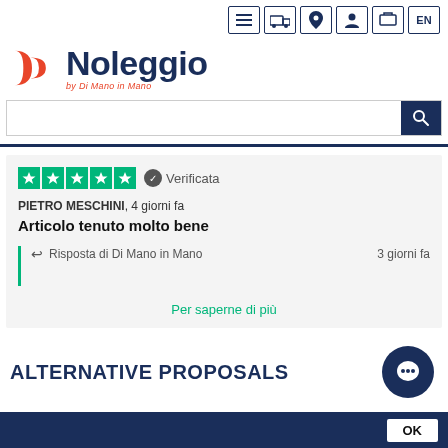[Figure (screenshot): Website navigation bar with menu, truck, location, user, cart icons and EN language button]
[Figure (logo): Noleggio by Di Mano in Mano logo with red double-D icon and dark blue Noleggio text]
[Figure (screenshot): Search bar with dark blue search button]
[Figure (screenshot): Trustpilot review card: 5 green stars, Verificata badge, reviewer PIETRO MESCHINI 4 giorni fa, title Articolo tenuto molto bene, reply from Di Mano in Mano 3 giorni fa, link Per saperne di piu]
ALTERNATIVE PROPOSALS
[Figure (screenshot): Dark blue footer bar with OK button]